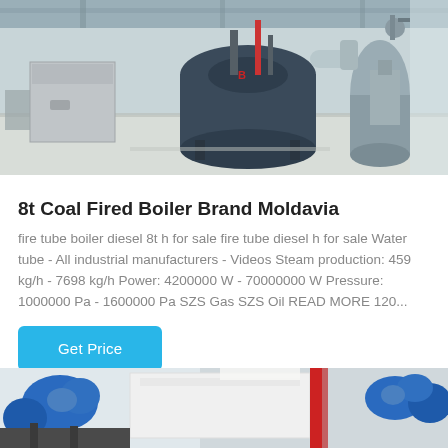[Figure (photo): Industrial boiler room with large blue/dark cylindrical coal fired boiler equipment, pipes, and metal cabinets on polished concrete floor inside a factory building.]
8t Coal Fired Boiler Brand Moldavia
fire tube boiler diesel 8t h for sale fire tube diesel h for sale Water tube - All industrial manufacturers - Videos Steam production: 459 kg/h - 7698 kg/h Power: 4200000 W - 70000000 W Pressure: 1000000 Pa - 1600000 Pa SZS Gas SZS Oil READ MORE 120...
Get Price
[Figure (photo): Close-up of industrial pipe insulation with blue foam pipe covers and red pipes visible, inside a building.]